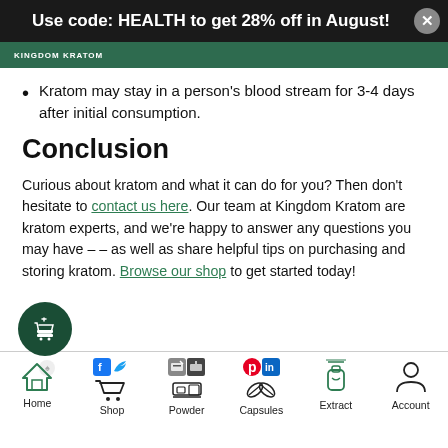Use code: HEALTH to get 28% off in August!
Kratom may stay in a person's blood stream for 3-4 days after initial consumption.
Conclusion
Curious about kratom and what it can do for you? Then don't hesitate to contact us here. Our team at Kingdom Kratom are kratom experts, and we're happy to answer any questions you may have – – as well as share helpful tips on purchasing and storing kratom. Browse our shop to get started today!
[Figure (other): Floating dark green circular cart icon button]
Home | Shop | Powder | Capsules | Extract | Account